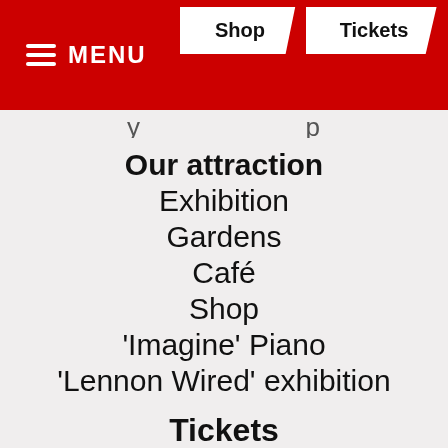MENU | Shop | Tickets
y p
Our attraction
Exhibition
Gardens
Café
Shop
'Imagine' Piano
'Lennon Wired' exhibition
Tickets
Steps at Strawberry Field